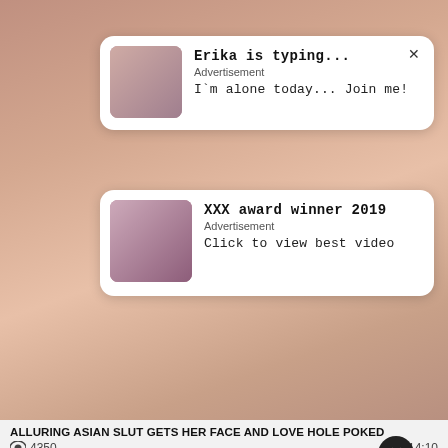[Figure (photo): Background: video content screenshot with skin-tone colors]
Erika is typing...
Advertisement
I`m alone today... Join me!
×
XXX award winner 2019
Advertisement
Click to view best video
ALLURING ASIAN SLUT GETS HER FACE AND LOVE HOLE POKED
👁 4350
⏱ 14:10